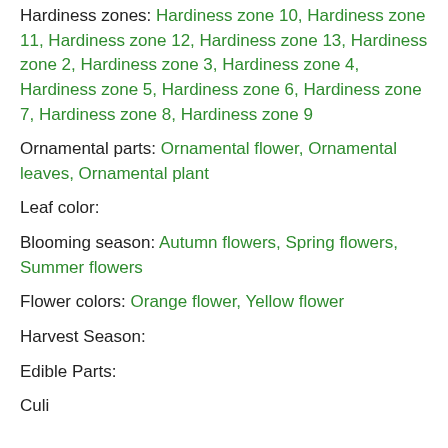Hardiness zones: Hardiness zone 10, Hardiness zone 11, Hardiness zone 12, Hardiness zone 13, Hardiness zone 2, Hardiness zone 3, Hardiness zone 4, Hardiness zone 5, Hardiness zone 6, Hardiness zone 7, Hardiness zone 8, Hardiness zone 9
Ornamental parts: Ornamental flower, Ornamental leaves, Ornamental plant
Leaf color:
Blooming season: Autumn flowers, Spring flowers, Summer flowers
Flower colors: Orange flower, Yellow flower
Harvest Season:
Edible Parts:
Culi...